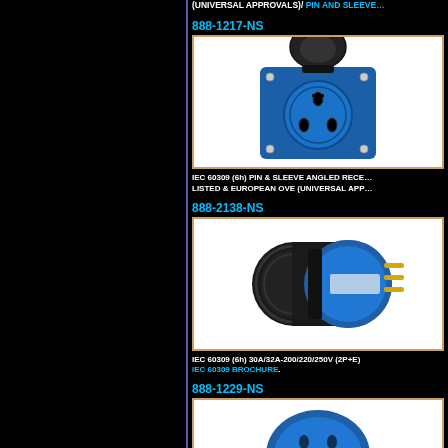(UNIVERSAL APPROVALS)/ PIN AND SLEEVE…
888-1217-NS
[Figure (photo): IEC 60309 blue angled panel receptacle with flip cover, 3-pin female socket mounted on square blue plate]
IEC 60309 (6h) PIN & SLEEVE ANGLED RECEPTACLE... LISTED & EUROPEAN OVE (UNIVERSAL APP…
888-2138-NS
[Figure (photo): IEC 60309 blue industrial plug, 3-pin male connector with black body, 30A/32A 200/220/250V 2P+E]
IEC 60309 (6h) 30A/32A-200/220/250V (2P+E) ... IEC 60309 BROCHURE.
888-1229-NS
[Figure (photo): IEC 60309 blue plug, partially visible at bottom of page]